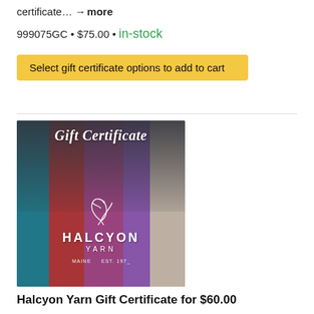certificate… → more
999075GC • $75.00 • in-stock
Select gift certificate options to add to cart
[Figure (photo): Halcyon Yarn Gift Certificate product image showing colorful yarn skeins (teal, red, pink/magenta, purple, cream) with 'Gift Certificate' text in script and Halcyon Yarn logo with bird graphic]
Halcyon Yarn Gift Certificate for $60.00